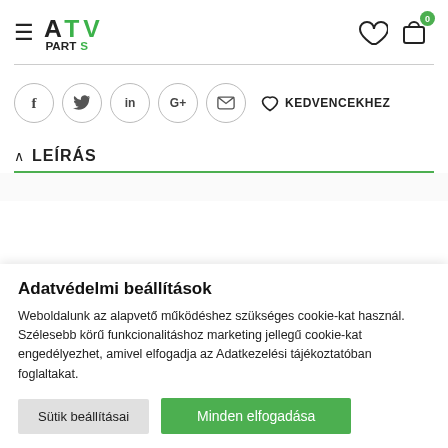[Figure (logo): ATV PARTS logo — green and black text with stylized letters]
[Figure (infographic): Social share icons: Facebook (f), Twitter (bird), LinkedIn (in), Google+ (G+), Email (envelope), and heart KEDVENCEKHEZ button]
LEÍRÁS
Adatvédelmi beállítások
Weboldalunk az alapvető működéshez szükséges cookie-kat használ. Szélesebb körű funkcionalitáshoz marketing jellegű cookie-kat engedélyezhet, amivel elfogadja az Adatkezelési tájékoztatóban foglaltakat.
Sütik beállításai
Minden elfogadása